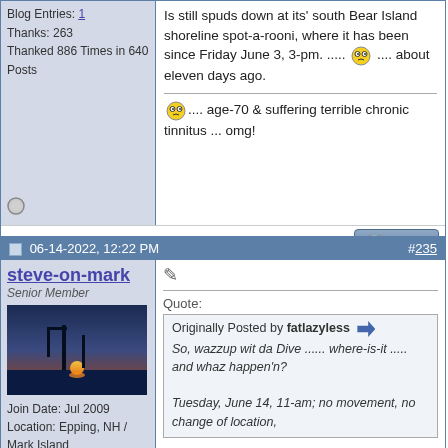Blog Entries: 1
Thanks: 263
Thanked 886 Times in 640 Posts
Is still spuds down at its' south Bear Island shoreline spot-a-rooni, where it has been since Friday June 3, 3-pm. ..... .... about eleven days ago.

.... age-70 & suffering terrible chronic tinnitus ... omg!
#235
06-14-2022, 12:22 PM
steve-on-mark
Senior Member
Join Date: Jul 2009
Location: Epping, NH / Mark Island
Posts: 1,069
Thanks: 88
Thanked 518 Times in 270 Posts
Quote:
Originally Posted by fatlazyless
So, wazzup wit da Dive ...... where-is-it ..... and whaz happen'n?

Tuesday, June 14, 11-am; no movement, no change of location,